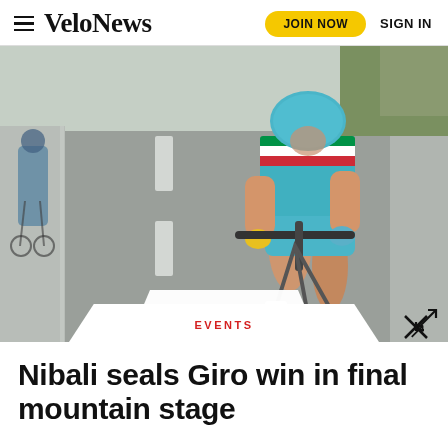VeloNews | JOIN NOW | SIGN IN
[Figure (photo): A cyclist wearing a teal/turquoise Astana team kit with Italian champion stripes riding a road bike toward the camera on an open road. A second cyclist is visible in the background on the left.]
EVENTS
Nibali seals Giro win in final mountain stage